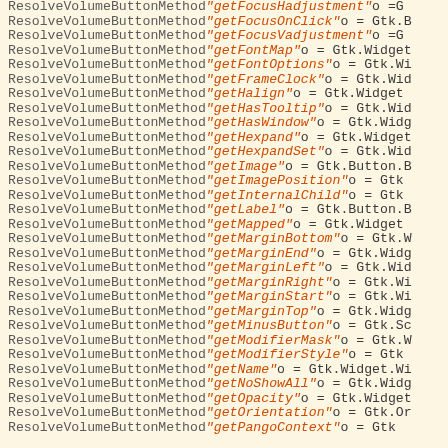ResolveVolumeButtonMethod code lines listing various get methods
ResolveVolumeButtonMethod "getFocusHadjustment" o = ...
ResolveVolumeButtonMethod "getFocusOnClick" o = Gtk.B...
ResolveVolumeButtonMethod "getFocusVadjustment" o = ...
ResolveVolumeButtonMethod "getFontMap" o = Gtk.Widget...
ResolveVolumeButtonMethod "getFontOptions" o = Gtk.Wi...
ResolveVolumeButtonMethod "getFrameClock" o = Gtk.Wid...
ResolveVolumeButtonMethod "getHalign" o = Gtk.Widget...
ResolveVolumeButtonMethod "getHasTooltip" o = Gtk.Wid...
ResolveVolumeButtonMethod "getHasWindow" o = Gtk.Widg...
ResolveVolumeButtonMethod "getHexpand" o = Gtk.Widget...
ResolveVolumeButtonMethod "getHexpandSet" o = Gtk.Wid...
ResolveVolumeButtonMethod "getImage" o = Gtk.Button.B...
ResolveVolumeButtonMethod "getImagePosition" o = Gtk...
ResolveVolumeButtonMethod "getInternalChild" o = Gtk...
ResolveVolumeButtonMethod "getLabel" o = Gtk.Button.B...
ResolveVolumeButtonMethod "getMapped" o = Gtk.Widget...
ResolveVolumeButtonMethod "getMarginBottom" o = Gtk.W...
ResolveVolumeButtonMethod "getMarginEnd" o = Gtk.Widg...
ResolveVolumeButtonMethod "getMarginLeft" o = Gtk.Wid...
ResolveVolumeButtonMethod "getMarginRight" o = Gtk.Wi...
ResolveVolumeButtonMethod "getMarginStart" o = Gtk.Wi...
ResolveVolumeButtonMethod "getMarginTop" o = Gtk.Widg...
ResolveVolumeButtonMethod "getMinusButton" o = Gtk.Sc...
ResolveVolumeButtonMethod "getModifierMask" o = Gtk.W...
ResolveVolumeButtonMethod "getModifierStyle" o = Gtk...
ResolveVolumeButtonMethod "getName" o = Gtk.Widget.Wi...
ResolveVolumeButtonMethod "getNoShowAll" o = Gtk.Widg...
ResolveVolumeButtonMethod "getOpacity" o = Gtk.Widget...
ResolveVolumeButtonMethod "getOrientation" o = Gtk.Or...
ResolveVolumeButtonMethod "getPangoContext" o = Gtk...